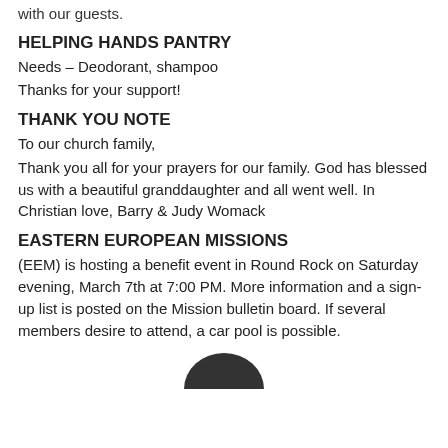with our guests.
HELPING HANDS PANTRY
Needs – Deodorant, shampoo
Thanks for your support!
THANK YOU NOTE
To our church family,
Thank you all for your prayers for our family. God has blessed us with a beautiful granddaughter and all went well. In Christian love, Barry & Judy Womack
EASTERN EUROPEAN MISSIONS
(EEM) is hosting a benefit event in Round Rock on Saturday evening, March 7th at 7:00 PM. More information and a sign-up list is posted on the Mission bulletin board. If several members desire to attend, a car pool is possible.
[Figure (illustration): Partial dark circular shape visible at the bottom of the page, likely a decorative element or logo]